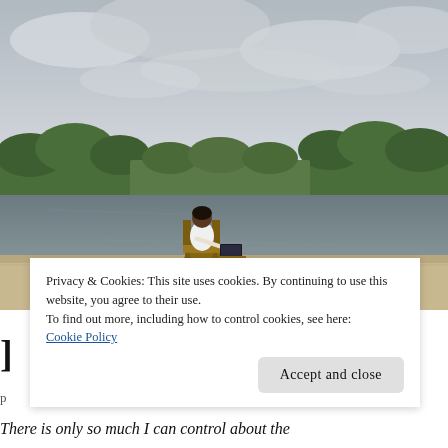[Figure (photo): Person sitting in a wooden chair at a laptop on a stone ledge overlooking a calm river or lake, with green trees and overcast cloudy sky in the background.]
Privacy & Cookies: This site uses cookies. By continuing to use this website, you agree to their use.
To find out more, including how to control cookies, see here:
Cookie Policy
Accept and close
There is only so much I can control about the